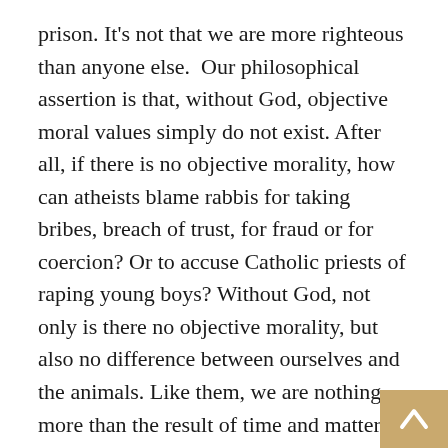prison. It's not that we are more righteous than anyone else.  Our philosophical assertion is that, without God, objective moral values simply do not exist. After all, if there is no objective morality, how can atheists blame rabbis for taking bribes, breach of trust, for fraud or for coercion? Or to accuse Catholic priests of raping young boys? Without God, not only is there no objective morality, but also no difference between ourselves and the animals. Like them, we are nothing more than the result of time and matter in a universe meant for destruction and ruin.
Without God, acts such as murder or rape may become evolutionarily unfashionable, but